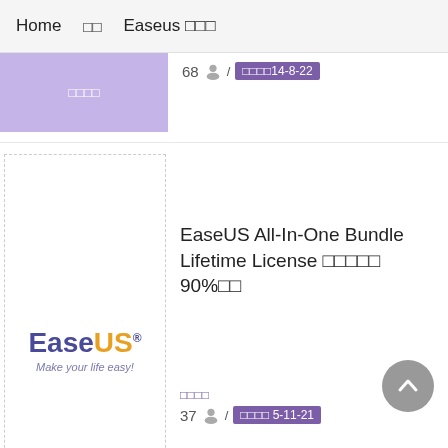Home  □□  Easeus □□□
[Figure (screenshot): Partial top card with purple thumbnail showing □□□□ text, count 68, user icon, date badge □□□□14-8-22]
[Figure (logo): EaseUS logo with dashed border: EaseUS Make your life easy!]
EaseUS All-In-One Bundle Lifetime License □□□□□ 90%□□
□□□□
37  /  □□□□ 5-11-21
□□□□
EaseUS Todo Backup